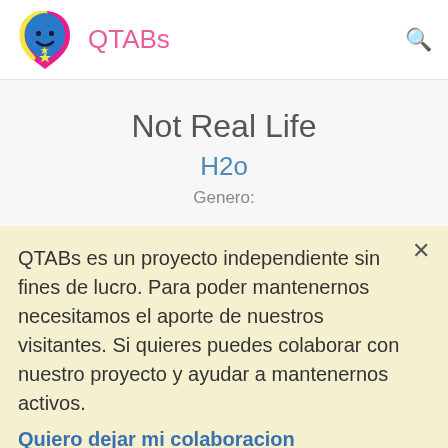QTABs
Not Real Life
H2o
Genero:
QTABs es un proyecto independiente sin fines de lucro. Para poder mantenernos necesitamos el aporte de nuestros visitantes. Si quieres puedes colaborar con nuestro proyecto y ayudar a mantenernos activos. Quiero dejar mi colaboracion